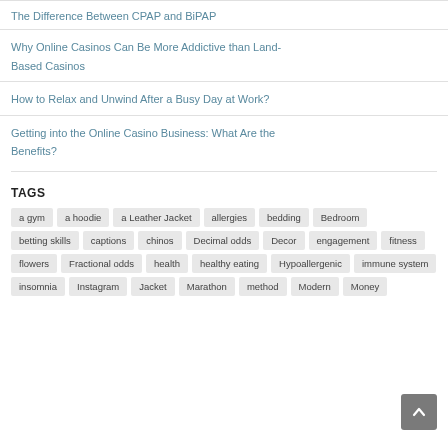The Difference Between CPAP and BiPAP
Why Online Casinos Can Be More Addictive than Land-Based Casinos
How to Relax and Unwind After a Busy Day at Work?
Getting into the Online Casino Business: What Are the Benefits?
TAGS
a gym, a hoodie, a Leather Jacket, allergies, bedding, Bedroom, betting skills, captions, chinos, Decimal odds, Decor, engagement, fitness, flowers, Fractional odds, health, healthy eating, Hypoallergenic, immune system, insomnia, Instagram, Jacket, Marathon, method, Modern, Money